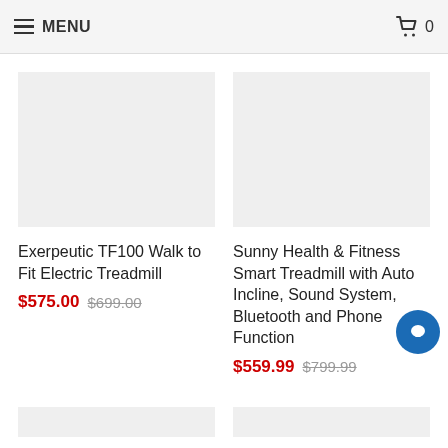MENU  🛒 0
[Figure (photo): Product image placeholder for Exerpeutic TF100 Walk to Fit Electric Treadmill - light gray rectangle]
Exerpeutic TF100 Walk to Fit Electric Treadmill
$575.00  $699.00
[Figure (photo): Product image placeholder for Sunny Health & Fitness Smart Treadmill - light gray rectangle]
Sunny Health & Fitness Smart Treadmill with Auto Incline, Sound System, Bluetooth and Phone Function
$559.99  $799.99
[Figure (photo): Chat bubble icon, blue circle with white speech bubble]
[Figure (photo): Two partial product image placeholders at bottom of page]